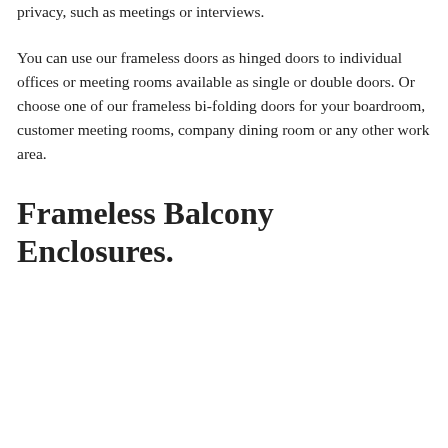privacy, such as meetings or interviews.
You can use our frameless doors as hinged doors to individual offices or meeting rooms available as single or double doors. Or choose one of our frameless bi-folding doors for your boardroom, customer meeting rooms, company dining room or any other work area.
Frameless Balcony Enclosures.